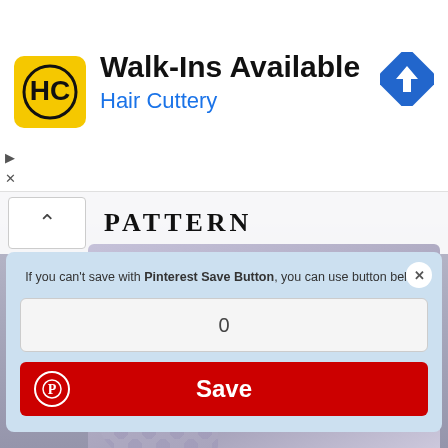[Figure (screenshot): Hair Cuttery advertisement banner with yellow HC logo, 'Walk-Ins Available' headline, 'Hair Cuttery' subtitle in blue, and a blue navigation diamond icon on the right. Small play and X controls on the left side.]
[Figure (screenshot): Pinterest Save Button popup dialog on a light blue background. Text says 'If you can't save with Pinterest Save Button, you can use button below'. Below is a counter showing 0, and a red Save button with Pinterest circle icon on the left.]
[Figure (photo): Partial view of a person wearing a lavender/light purple fuzzy knit sweater with lace pattern on the sleeve. The word PATTERN is visible in the background header. A white chevron/collapse button is visible.]